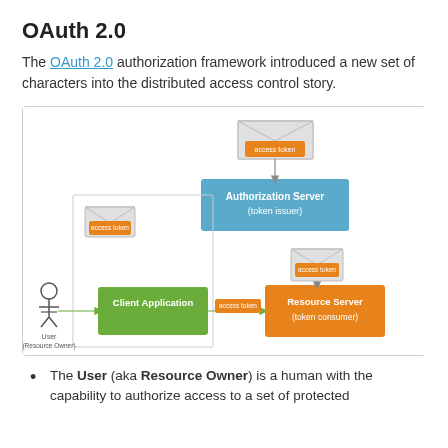OAuth 2.0
The OAuth 2.0 authorization framework introduced a new set of characters into the distributed access control story.
[Figure (flowchart): OAuth 2.0 flow diagram showing User (Resource Owner), Client Application, Authorization Server (token issuer), and Resource Server (token consumer) connected by arrows with access token labels on orange envelope icons.]
The User (aka Resource Owner) is a human with the capability to authorize access to a set of protected